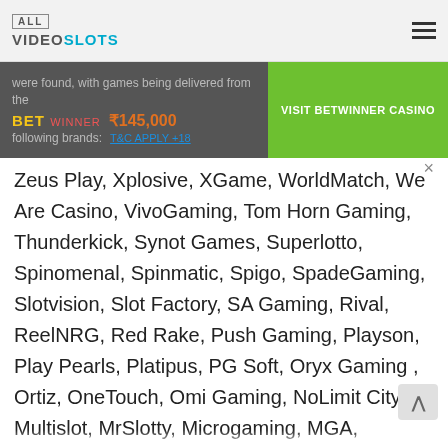ALL VIDEOSLOTS
were found, with games being delivered from the following brands:
[Figure (other): BetWinner casino advertisement banner with ₹145,000 bonus offer and green VISIT BETWINNER CASINO button]
Zeus Play, Xplosive, XGame, WorldMatch, We Are Casino, VivoGaming, Tom Horn Gaming, Thunderkick, Synot Games, Superlotto, Spinomenal, Spinmatic, Spigo, SpadeGaming, Slotvision, Slot Factory, SA Gaming, Rival, ReelNRG, Red Rake, Push Gaming, Playson, Play Pearls, Platipus, PG Soft, Oryx Gaming , Ortiz, OneTouch, Omi Gaming, NoLimit City, Multislot, MrSlotty, Microgaming, MGA, Magma, LeapGaming, Kalamba, KAgaming, ISoftBet, Iron Dog Studio, IGROSOFT, GMW, Glück, GII365, Genesis, Ganapati Gaming, Gamshy, Gamomat, Gaming, Felix, Fazi, EvoPlay, Evolution Gaming, Espresso Games, Endorphina, ELK Studios, DLV, Concept Gaming,